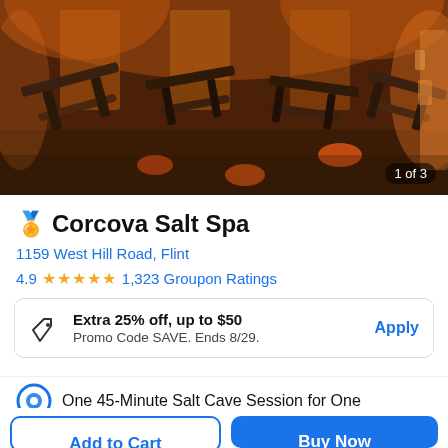[Figure (photo): Interior of a salt cave spa with zero-gravity recliner chairs arranged on a wooden floor, warm amber/orange lighting, salt lamps on walls. Counter shows '1 of 3'.]
🏅 Corcova Salt Spa
1159 West Hill Road, Flint
4.9 ★★★★★ 1,323 Groupon Ratings
Extra 25% off, up to $50
Promo Code SAVE. Ends 8/29.
Apply
One 45-Minute Salt Cave Session for One
Add to Cart
Buy Now